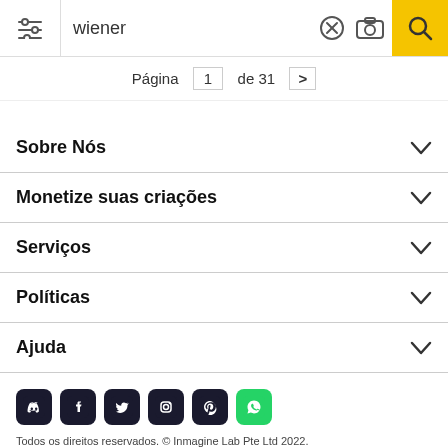[Figure (screenshot): Search bar with filter icon, search term 'wiener', clear (X) button, camera icon, and yellow search button with magnifying glass icon]
Página 1 de 31 >
Sobre Nós
Monetize suas criações
Serviços
Políticas
Ajuda
[Figure (illustration): Social media icons row: Discord, Facebook, Twitter, Instagram, Pinterest, WhatsApp]
Todos os direitos reservados. © Inmagine Lab Pte Ltd 2022.